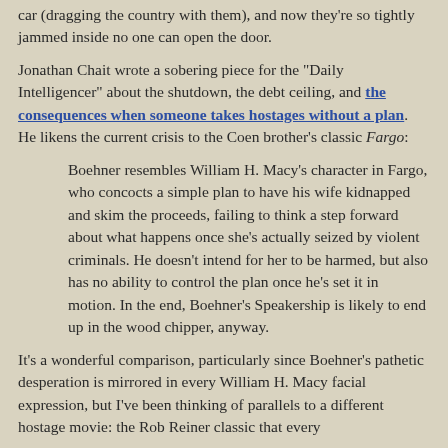car (dragging the country with them), and now they're so tightly jammed inside no one can open the door.
Jonathan Chait wrote a sobering piece for the "Daily Intelligencer" about the shutdown, the debt ceiling, and the consequences when someone takes hostages without a plan. He likens the current crisis to the Coen brother's classic Fargo:
Boehner resembles William H. Macy's character in Fargo, who concocts a simple plan to have his wife kidnapped and skim the proceeds, failing to think a step forward about what happens once she's actually seized by violent criminals. He doesn't intend for her to be harmed, but also has no ability to control the plan once he's set it in motion. In the end, Boehner's Speakership is likely to end up in the wood chipper, anyway.
It's a wonderful comparison, particularly since Boehner's pathetic desperation is mirrored in every William H. Macy facial expression, but I've been thinking of parallels to a different hostage movie: the Rob Reiner classic that every